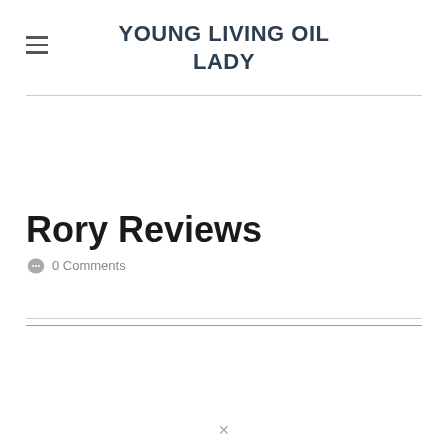YOUNG LIVING OIL LADY
Rory Reviews
0 Comments